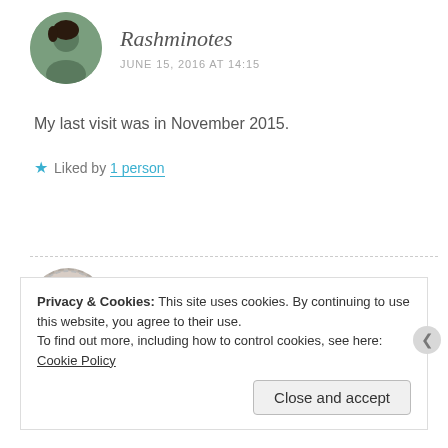Rashminotes — JUNE 15, 2016 AT 14:15
My last visit was in November 2015.
★ Liked by 1 person
Archya Sengupta — JUNE 16, 2016 AT 23:14
Privacy & Cookies: This site uses cookies. By continuing to use this website, you agree to their use.
To find out more, including how to control cookies, see here: Cookie Policy
Close and accept